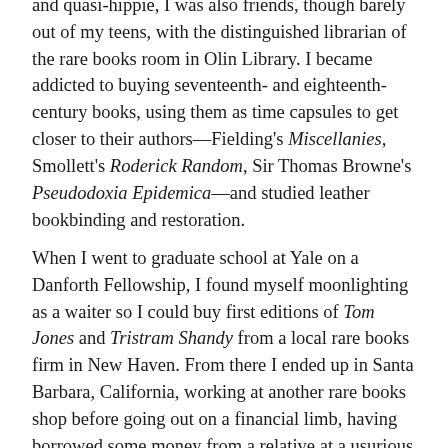and quasi-hippie, I was also friends, though barely out of my teens, with the distinguished librarian of the rare books room in Olin Library. I became addicted to buying seventeenth- and eighteenth-century books, using them as time capsules to get closer to their authors—Fielding's Miscellanies, Smollett's Roderick Random, Sir Thomas Browne's Pseudodoxia Epidemica—and studied leather bookbinding and restoration.
When I went to graduate school at Yale on a Danforth Fellowship, I found myself moonlighting as a waiter so I could buy first editions of Tom Jones and Tristram Shandy from a local rare books firm in New Haven. From there I ended up in Santa Barbara, California, working at another rare books shop before going out on a financial limb, having borrowed some money from a relative at a usurious interest rate, to open my own business. By my mid- to late twenties I'd become a full-fledged bibliomaniac, handling everything from F. Scott Fitzgerald